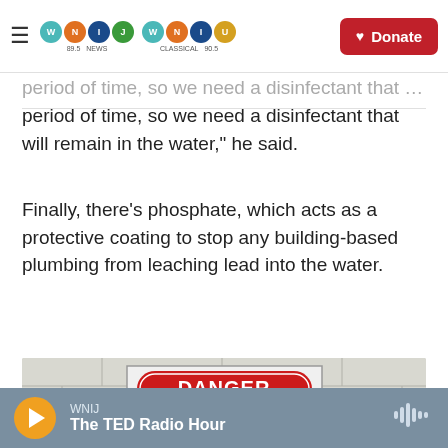WNIJ NEWS | WNIU CLASSICAL 90.5 | Donate
period of time, so we need a disinfectant that will remain in the water," he said.
Finally, there’s phosphate, which acts as a protective coating to stop any building-based plumbing from leaching lead into the water.
[Figure (photo): A white cinder block wall with a DANGER CHLORINE GAS warning sign mounted on it. Below are several silver pipe valves/tops, and on the right side there is equipment mounted on the wall.]
WNIJ | The TED Radio Hour